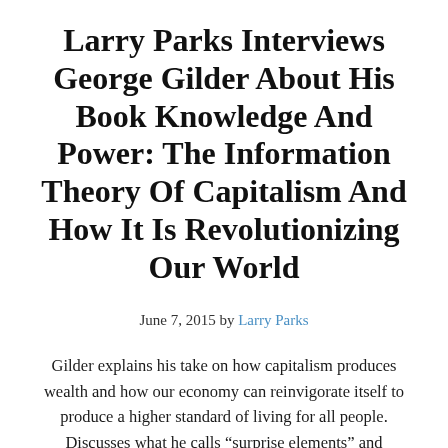Larry Parks Interviews George Gilder About His Book Knowledge And Power: The Information Theory Of Capitalism And How It Is Revolutionizing Our World
June 7, 2015 by Larry Parks
Gilder explains his take on how capitalism produces wealth and how our economy can reinvigorate itself to produce a higher standard of living for all people. Discusses what he calls “surprise elements” and entrepreneurs. Gilder discusses the central role of entrepreneurs in society as